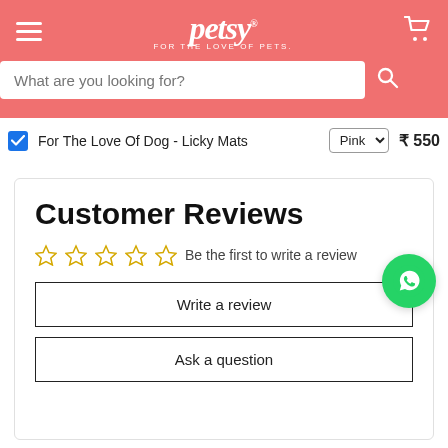petsy — FOR THE LOVE OF PETS
What are you looking for?
For The Love Of Dog - Licky Mats   Pink   ₹ 550
Customer Reviews
☆☆☆☆☆  Be the first to write a review
Write a review
Ask a question